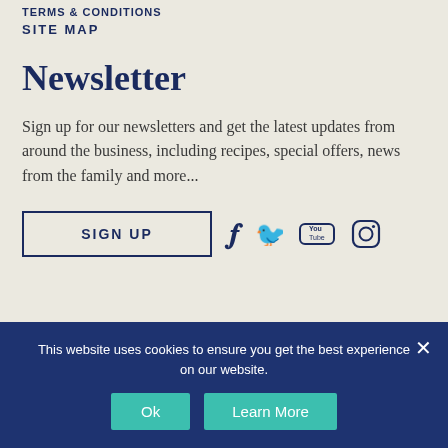TERMS & CONDITIONS
SITE MAP
Newsletter
Sign up for our newsletters and get the latest updates from around the business, including recipes, special offers, news from the family and more...
SIGN UP
This website uses cookies to ensure you get the best experience on our website.
Ok   Learn More